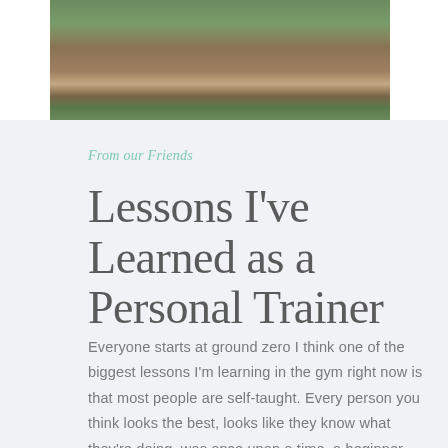[Figure (photo): Outdoor photo of a person meditating or sitting on a wooden deck/boardwalk surrounded by green foliage and plants, viewed from behind.]
From our Friends
Lessons I've Learned as a Personal Trainer
Everyone starts at ground zero I think one of the biggest lessons I'm learning in the gym right now is that most people are self-taught. Every person you think looks the best, looks like they know what they're doing, was once upon a time, a beginner.